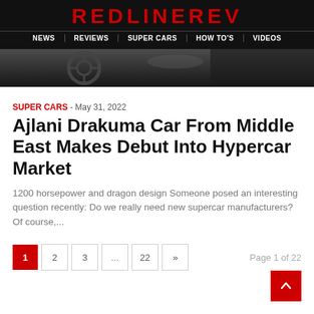REDLINEREV — NEWS | REVIEWS | SUPER CARS | HOW TO'S | VIDEOS
[Figure (photo): Dark interior car photo strip, partially cropped]
SUPER CARS - May 31, 2022
Ajlani Drakuma Car From Middle East Makes Debut Into Hypercar Market
1200 horsepower and dragon design Someone posed an interesting question recently: Do we really need new supercar manufacturers? Of course,...
1 2 3 ... 22 »  Page 1 of 22